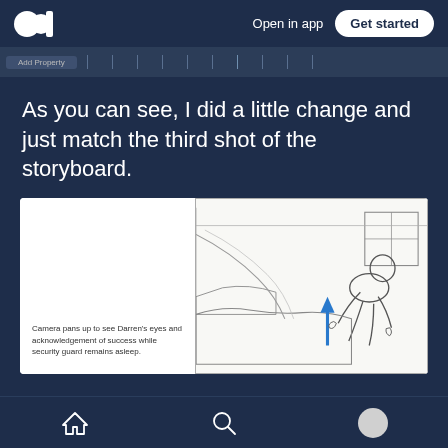Open in app | Get started
[Figure (screenshot): Toolbar strip showing Add Property label and timeline ticks]
As you can see, I did a little change and just match the third shot of the storyboard.
[Figure (illustration): Storyboard panel showing a figure crouching near furniture with a blue upward arrow. Caption reads: Camera pans up to see Darren's eyes and acknowledgement of success while security guard remains asleep.]
In the animation keyframe, I added a bonus keyframe to extend the last shot, with next frame
Home | Search | Profile